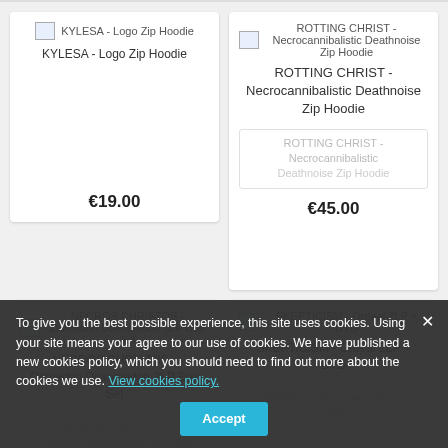[Figure (screenshot): Product grid showing music merchandise items with prices]
KYLESA - Logo Zip Hoodie
€19.00
ROTTING CHRIST - Necrocannibalistic Deathnoise Zip Hoodie
ROTTING CHRIST - Necrocannibalistic Deathnoise Zip Hoodie
€45.00
NECROS CHRISTOS - Domedon Doxomedon 3LP Box Set
NECROS CHRISTOS - Domedon Doxomedon 3LP Box Set
SKEPTICISM - Ordeal 2LP + DVD
SKEPTICISM - Ordeal 2LP + DVD
To give you the best possible experience, this site uses cookies. Using your site means your agree to our use of cookies. We have published a new cookies policy, which you should need to find out more about the cookies we use. View cookies policy.